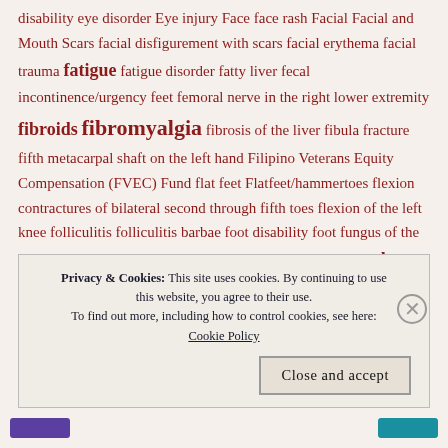disability eye disorder Eye injury Face face rash Facial Facial and Mouth Scars facial disfigurement with scars facial erythema facial trauma fatigue fatigue disorder fatty liver fecal incontinence/urgency feet femoral nerve in the right lower extremity fibroids fibromyalgia fibrosis of the liver fibula fracture fifth metacarpal shaft on the left hand Filipino Veterans Equity Compensation (FVEC) Fund flat feet Flatfeet/hammertoes flexion contractures of bilateral second through fifth toes flexion of the left knee folliculitis folliculitis barbae foot disability foot fungus of the bilateral feet for a low back disability foreign body for right knee instability fracture fractured sternum fracture malleolus fracture of the distal end of the right second metacarpal fracture of
Privacy & Cookies: This site uses cookies. By continuing to use this website, you agree to their use. To find out more, including how to control cookies, see here: Cookie Policy